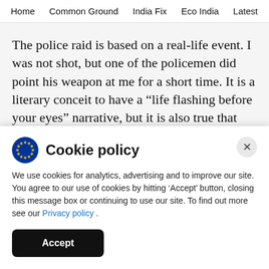Home  Common Ground  India Fix  Eco India  Latest  Th
The police raid is based on a real-life event. I was not shot, but one of the policemen did point his weapon at me for a short time. It is a literary conceit to have a “life flashing before your eyes” narrative, but it is also true that when you are going through a very difficult moment, your mind races through time to remember what’s important.
Cookie policy
We use cookies for analytics, advertising and to improve our site. You agree to our use of cookies by hitting ‘Accept’ button, closing this message box or continuing to use our site. To find out more see our Privacy policy .
Accept